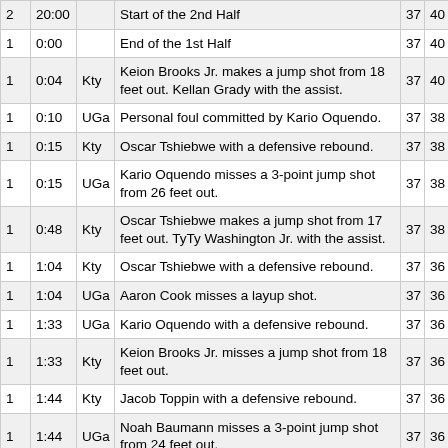| Half | Time | Team | Description | Col5 | Col6 |
| --- | --- | --- | --- | --- | --- |
| 2 | 20:00 |  | Start of the 2nd Half | 37 | 40 |
| 1 | 0:00 |  | End of the 1st Half | 37 | 40 |
| 1 | 0:04 | Kty | Keion Brooks Jr. makes a jump shot from 18 feet out. Kellan Grady with the assist. | 37 | 40 |
| 1 | 0:10 | UGa | Personal foul committed by Kario Oquendo. | 37 | 38 |
| 1 | 0:15 | Kty | Oscar Tshiebwe with a defensive rebound. | 37 | 38 |
| 1 | 0:15 | UGa | Kario Oquendo misses a 3-point jump shot from 26 feet out. | 37 | 38 |
| 1 | 0:48 | Kty | Oscar Tshiebwe makes a jump shot from 17 feet out. TyTy Washington Jr. with the assist. | 37 | 38 |
| 1 | 1:04 | Kty | Oscar Tshiebwe with a defensive rebound. | 37 | 36 |
| 1 | 1:04 | UGa | Aaron Cook misses a layup shot. | 37 | 36 |
| 1 | 1:33 | UGa | Kario Oquendo with a defensive rebound. | 37 | 36 |
| 1 | 1:33 | Kty | Keion Brooks Jr. misses a jump shot from 18 feet out. | 37 | 36 |
| 1 | 1:44 | Kty | Jacob Toppin with a defensive rebound. | 37 | 36 |
| 1 | 1:44 | UGa | Noah Baumann misses a 3-point jump shot from 24 feet out. | 37 | 36 |
| 1 | 1:56 | Kty | Kellan Grady with a bad pass turnover: Bad Pass | 37 | 36 |
| 1 | 2:07 | Kty | Oscar Tshiebwe with an offensive rebound. | 37 | 36 |